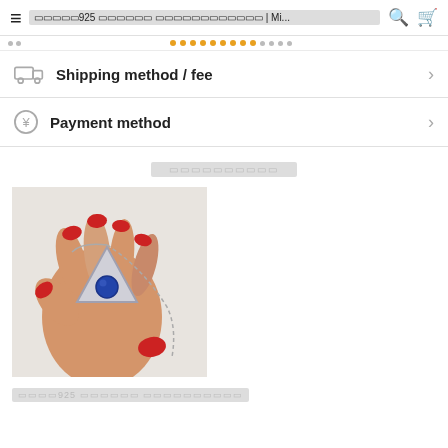≡  ▓▓▓▓▓925 ▓▓▓▓▓▓ ▓▓▓▓▓▓▓▓▓▓▓▓ | Mi...  🔍  🛒
▓▓▓▓▓▓▓▓▓▓ (dots/pagination)
Shipping method / fee
Payment method
▓▓▓▓▓▓▓▓▓▓
[Figure (photo): A hand with red nail polish holding a silver triangular pendant necklace with a round blue gemstone (lapis lazuli), on a white background with a silver chain visible]
▓▓▓▓925 ▓▓▓▓▓▓ ▓▓▓▓▓▓▓▓▓▓